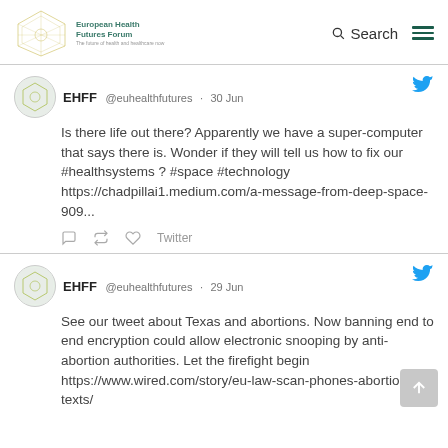European Health Futures Forum — Search — Menu
EHFF @euhealthfutures · 30 Jun
Is there life out there? Apparently we have a super-computer that says there is. Wonder if they will tell us how to fix our #healthsystems ? #space #technology https://chadpillai1.medium.com/a-message-from-deep-space-909...
EHFF @euhealthfutures · 29 Jun
See our tweet about Texas and abortions. Now banning end to end encryption could allow electronic snooping by anti-abortion authorities. Let the firefight begin https://www.wired.com/story/eu-law-scan-phones-abortion-texts/